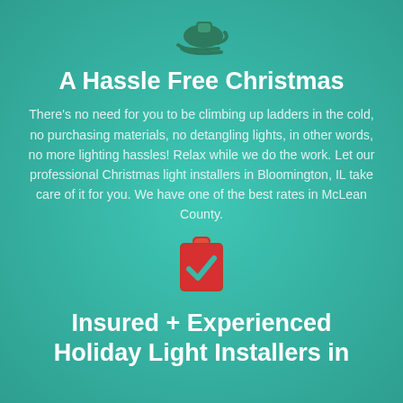[Figure (illustration): Dark green sleigh/sled icon on teal background]
A Hassle Free Christmas
There's no need for you to be climbing up ladders in the cold, no purchasing materials, no detangling lights, in other words, no more lighting hassles! Relax while we do the work. Let our professional Christmas light installers in Bloomington, IL take care of it for you. We have one of the best rates in McLean County.
[Figure (illustration): Red clipboard with teal checkmark icon]
Insured + Experienced Holiday Light Installers in